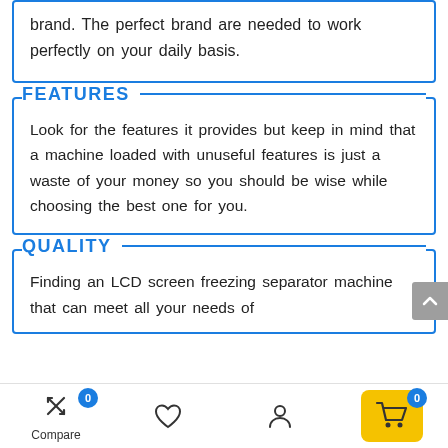brand. The perfect brand are needed to work perfectly on your daily basis.
FEATURES
Look for the features it provides but keep in mind that a machine loaded with unuseful features is just a waste of your money so you should be wise while choosing the best one for you.
QUALITY
Finding an LCD screen freezing separator machine that can meet all your needs of